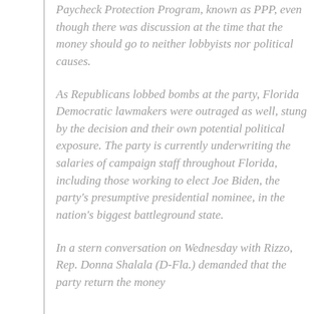Paycheck Protection Program, known as PPP, even though there was discussion at the time that the money should go to neither lobbyists nor political causes.
As Republicans lobbed bombs at the party, Florida Democratic lawmakers were outraged as well, stung by the decision and their own potential political exposure. The party is currently underwriting the salaries of campaign staff throughout Florida, including those working to elect Joe Biden, the party's presumptive presidential nominee, in the nation's biggest battleground state.
In a stern conversation on Wednesday with Rizzo, Rep. Donna Shalala (D-Fla.) demanded that the party return the money